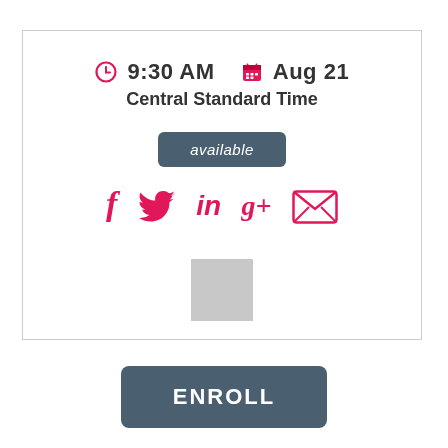[Figure (screenshot): UI card showing time 9:30 AM and date Aug 21, with available badge, social share icons (Facebook, Twitter, LinkedIn, Google+, Email), and a gray placeholder square]
9:30 AM  Aug 21
Central Standard Time
available
[Figure (infographic): Social media icons row: Facebook (f), Twitter (bird), LinkedIn (in), Google+ (g+), Email (envelope)]
[Figure (other): Gray placeholder square]
ENROLL